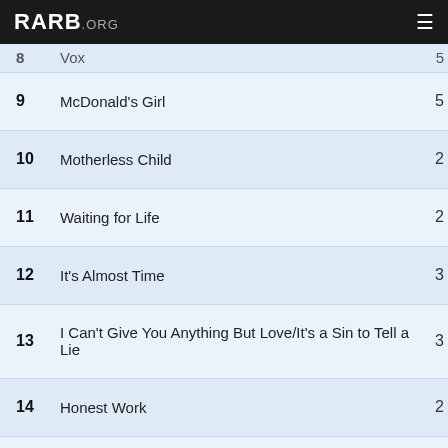RARB.ORG
| # | Title | Count |
| --- | --- | --- |
| 8 | Vox | 5 |
| 9 | McDonald's Girl | 5 |
| 10 | Motherless Child | 2 |
| 11 | Waiting for Life | 2 |
| 12 | It's Almost Time | 3 |
| 13 | I Can't Give You Anything But Love/It's a Sin to Tell a Lie | 3 |
| 14 | Honest Work | 2 |
| 15 | Shadowland | 2 |
| 16 | Taco Bell Canon | 3 |
| 17 | Leavin's Not the Only Way to Go | 3 |
| 18 | Moonfall | 2 |
| 19 | Don't You Worry 'Bout a Thing | 4 |
| 20 | Pretending to Care | 3 |